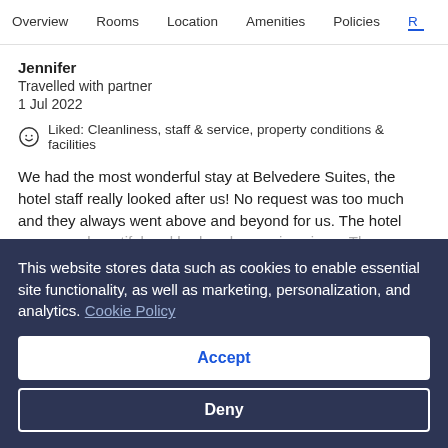Overview  Rooms  Location  Amenities  Policies  R
Jennifer
Travelled with partner
1 Jul 2022
Liked: Cleanliness, staff & service, property conditions & facilities
We had the most wonderful stay at Belvedere Suites, the hotel staff really looked after us! No request was too much and they always went above and beyond for us. The hotel room was beautiful and had such amazing views. The reception staff, especially Nicoletta, were extremely helpful and gave wonderf
This website stores data such as cookies to enable essential site functionality, as well as marketing, personalization, and analytics. Cookie Policy
Accept
Deny